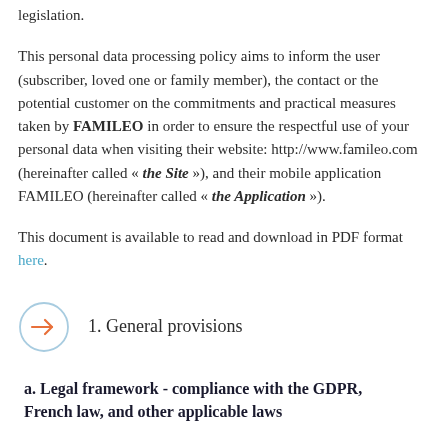legislation.
This personal data processing policy aims to inform the user (subscriber, loved one or family member), the contact or the potential customer on the commitments and practical measures taken by FAMILEO in order to ensure the respectful use of your personal data when visiting their website: http://www.famileo.com (hereinafter called « the Site »), and their mobile application FAMILEO (hereinafter called « the Application »).
This document is available to read and download in PDF format here.
1. General provisions
a. Legal framework - compliance with the GDPR, French law, and other applicable laws